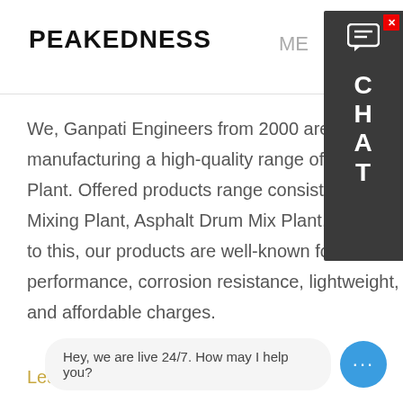PEAKEDNESS   ME
We, Ganpati Engineers from 2000 are engaged in manufacturing a high-quality range of Concrete Batching Mixing Plant. Offered products range consists of Concrete Batching Mixing Plant, Asphalt Drum Mix Plant, and Vibrating Roller.More to this, our products are well-known for their smooth performance, corrosion resistance, lightweight, long service life, and affordable charges.
Learn More
Mobile C... Plants | ELKON